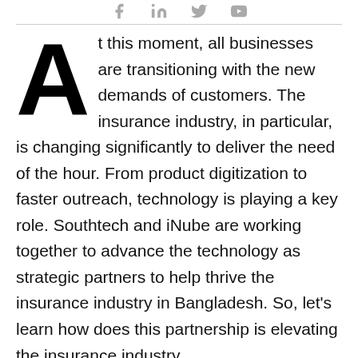[social icons: facebook, linkedin, twitter, youtube]
At this moment, all businesses are transitioning with the new demands of customers. The insurance industry, in particular, is changing significantly to deliver the need of the hour. From product digitization to faster outreach, technology is playing a key role. Southtech and iNube are working together to advance the technology as strategic partners to help thrive the insurance industry in Bangladesh. So, let's learn how does this partnership is elevating the insurance industry.
Southtech-iNube